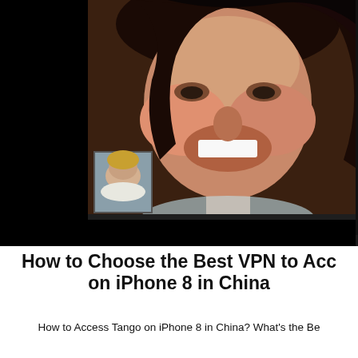[Figure (screenshot): Screenshot of Tango video calling app showing a smiling woman on a video call on the left panel, self-view thumbnail, call controls (mute, End, video), and a contacts list panel on the right showing CONTACTS header, 'all' and 'tango' tabs, contact list with Jane Aalto, Nancy Aanda, Jessie Abado, Jeff Andrews under letter 'a', and Lucy Baca under letter 'b', with Search and Add buttons at bottom.]
How to Choose the Best VPN to Access Tango on iPhone 8 in China
How to Access Tango on iPhone 8 in China? What's the Be...